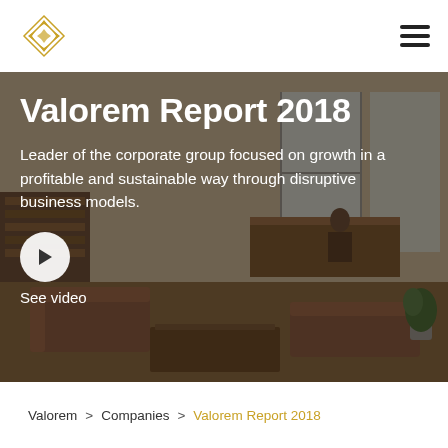[Figure (logo): Valorem gold geometric logo mark]
Valorem Report 2018
Leader of the corporate group focused on growth in a profitable and sustainable way through disruptive business models.
See video
[Figure (photo): Corporate office interior with leather sofas, coffee table, bookshelf and plant, dark overlay]
Valorem  >  Companies  >  Valorem Report 2018